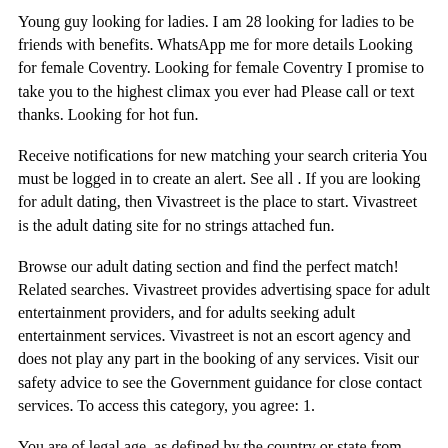Young guy looking for ladies. I am 28 looking for ladies to be friends with benefits. WhatsApp me for more details Looking for female Coventry. Looking for female Coventry I promise to take you to the highest climax you ever had Please call or text thanks. Looking for hot fun.
Receive notifications for new matching your search criteria You must be logged in to create an alert. See all . If you are looking for adult dating, then Vivastreet is the place to start. Vivastreet is the adult dating site for no strings attached fun.
Browse our adult dating section and find the perfect match! Related searches. Vivastreet provides advertising space for adult entertainment providers, and for adults seeking adult entertainment services. Vivastreet is not an escort agency and does not play any part in the booking of any services. Visit our safety advice to see the Government guidance for close contact services. To access this category, you agree: 1.
You are of legal age, as defined by the country or state from where you are accessing the Site, to view sexually explicit material; 2. You will only use the Site for legal purposes; 3. You are not offended by nudity, sexual imagery or adult sexual activity; 5.
You will not permit any minor, or other person for whom it is illegal to access this part of the Site. 6. You accept that the Site